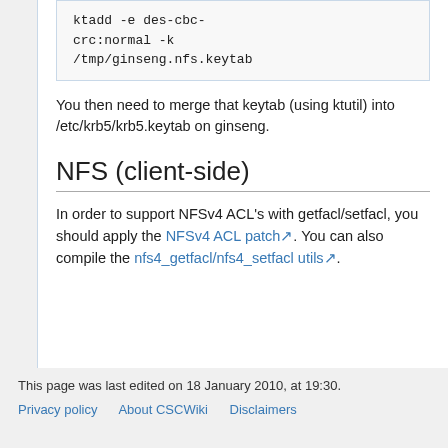[Figure (screenshot): Code block showing: ktadd -e des-cbc-crc:normal -k /tmp/ginseng.nfs.keytab]
You then need to merge that keytab (using ktutil) into /etc/krb5/krb5.keytab on ginseng.
NFS (client-side)
In order to support NFSv4 ACL's with getfacl/setfacl, you should apply the NFSv4 ACL patch. You can also compile the nfs4_getfacl/nfs4_setfacl utils.
This page was last edited on 18 January 2010, at 19:30.
Privacy policy   About CSCWiki   Disclaimers